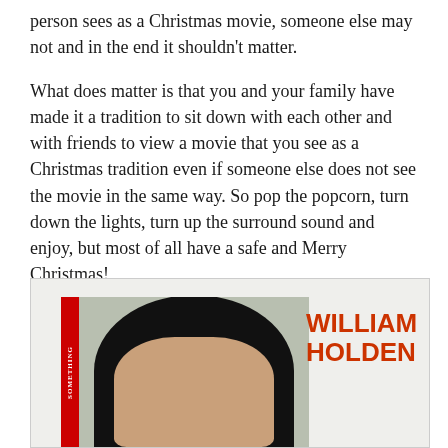person sees as a Christmas movie, someone else may not and in the end it shouldn't matter.
What does matter is that you and your family have made it a tradition to sit down with each other and with friends to view a movie that you see as a Christmas tradition even if someone else does not see the movie in the same way. So pop the popcorn, turn down the lights, turn up the surround sound and enjoy, but most of all have a safe and Merry Christmas!
[Figure (photo): Photo of William Holden — partial face/head with dark hair visible, red vertical stripe on left side, name 'WILLIAM HOLDEN' in large bold red text on right side]